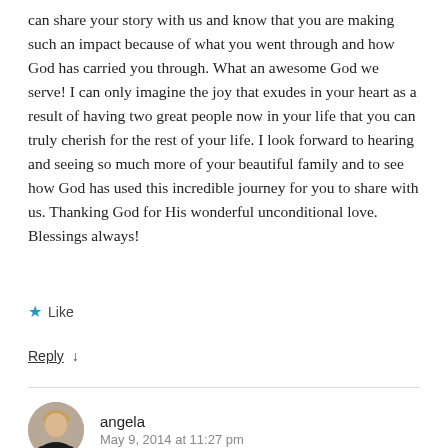can share your story with us and know that you are making such an impact because of what you went through and how God has carried you through. What an awesome God we serve! I can only imagine the joy that exudes in your heart as a result of having two great people now in your life that you can truly cherish for the rest of your life. I look forward to hearing and seeing so much more of your beautiful family and to see how God has used this incredible journey for you to share with us. Thanking God for His wonderful unconditional love. Blessings always!
★ Like
Reply ↓
angela
May 9, 2014 at 11:27 pm